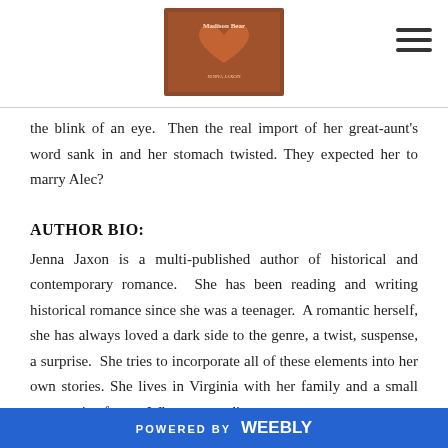[Figure (photo): Book cover image for a romance novel, appears to show 'Madison Bear' or similar title with a heart motif, positioned in the center of the header]
the blink of an eye.  Then the real import of her great-aunt's word sank in and her stomach twisted. They expected her to marry Alec?
AUTHOR BIO:
Jenna Jaxon is a multi-published author of historical and contemporary romance.  She has been reading and writing historical romance since she was a teenager.  A romantic herself, she has always loved a dark side to the genre, a twist, suspense, a surprise.  She tries to incorporate all of these elements into her own stories. She lives in Virginia with her family and a small menagerie of pets.  When not reading or
POWERED BY weebly